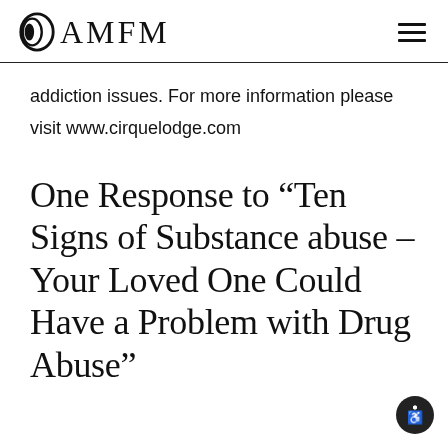OAMFM
addiction issues. For more information please visit www.cirquelodge.com
One Response to “Ten Signs of Substance abuse – Your Loved One Could Have a Problem with Drug Abuse”